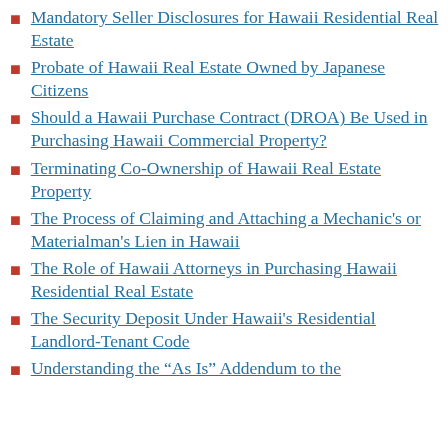Mandatory Seller Disclosures for Hawaii Residential Real Estate
Probate of Hawaii Real Estate Owned by Japanese Citizens
Should a Hawaii Purchase Contract (DROA) Be Used in Purchasing Hawaii Commercial Property?
Terminating Co-Ownership of Hawaii Real Estate Property
The Process of Claiming and Attaching a Mechanic's or Materialman's Lien in Hawaii
The Role of Hawaii Attorneys in Purchasing Hawaii Residential Real Estate
The Security Deposit Under Hawaii's Residential Landlord-Tenant Code
Understanding the “As Is” Addendum to the